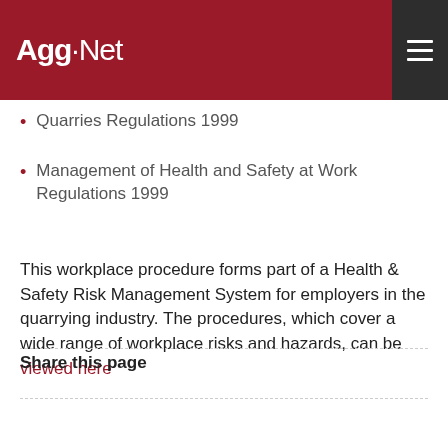Agg-Net
Quarries Regulations 1999
Management of Health and Safety at Work Regulations 1999
This workplace procedure forms part of a Health & Safety Risk Management System for employers in the quarrying industry. The procedures, which cover a wide range of workplace risks and hazards, can be viewed here
Share this page